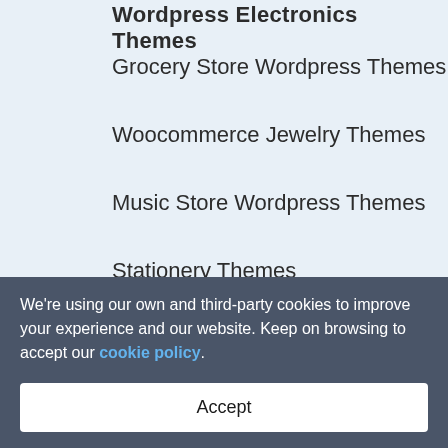Wordpress Electronics Themes
Grocery Store Wordpress Themes
Woocommerce Jewelry Themes
Music Store Wordpress Themes
Stationery Themes
Shopify Themes
Minimal Shopify Themes
Parallax Shopify Themes
Shopify Blog Templates
Shopify Beauty Themes
We're using our own and third-party cookies to improve your experience and our website. Keep on browsing to accept our cookie policy.